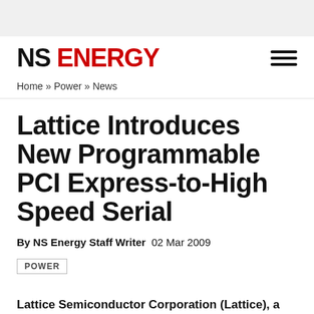NS ENERGY
Home » Power » News
Lattice Introduces New Programmable PCI Express-to-High Speed Serial
By NS Energy Staff Writer  02 Mar 2009
POWER
Lattice Semiconductor Corporation (Lattice), a US-based developer of programmable logic products and